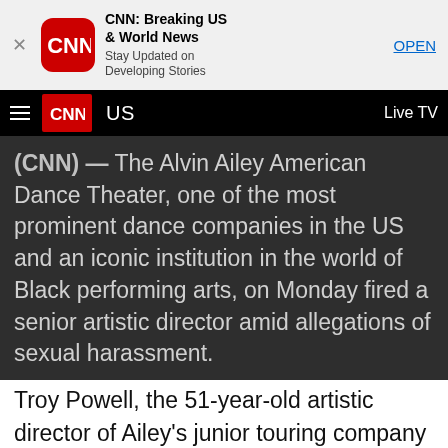[Figure (logo): CNN app banner with red CNN icon, app name 'CNN: Breaking US & World News', subtitle 'Stay Updated on Developing Stories', and OPEN button]
CNN | US | Live TV
(CNN) — The Alvin Ailey American Dance Theater, one of the most prominent dance companies in the US and an iconic institution in the world of Black performing arts, on Monday fired a senior artistic director amid allegations of sexual harassment.
Troy Powell, the 51-year-old artistic director of Ailey's junior touring company and a teacher at The Ailey School in New York City, was dismissed following an investigation commissioned by the school to look into the misconduct claims, the organization said.